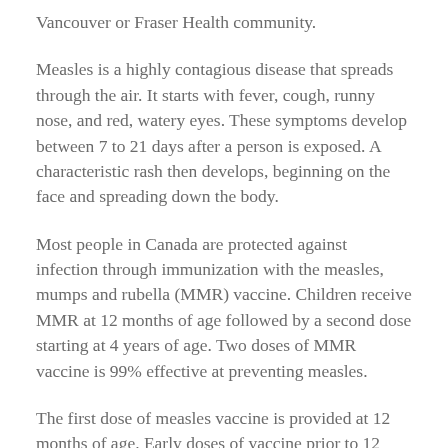Vancouver or Fraser Health community.
Measles is a highly contagious disease that spreads through the air. It starts with fever, cough, runny nose, and red, watery eyes. These symptoms develop between 7 to 21 days after a person is exposed. A characteristic rash then develops, beginning on the face and spreading down the body.
Most people in Canada are protected against infection through immunization with the measles, mumps and rubella (MMR) vaccine. Children receive MMR at 12 months of age followed by a second dose starting at 4 years of age. Two doses of MMR vaccine is 99% effective at preventing measles.
The first dose of measles vaccine is provided at 12 months of age. Early doses of vaccine prior to 12 months of age are not recommended.
While there is no community outbreak, there has been